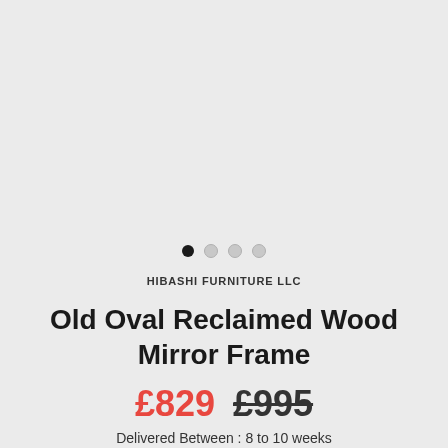[Figure (other): Product image area (gray background, image not shown)]
HIBASHI FURNITURE LLC
Old Oval Reclaimed Wood Mirror Frame
£829  £995
Delivered Between : 8 to 10 weeks